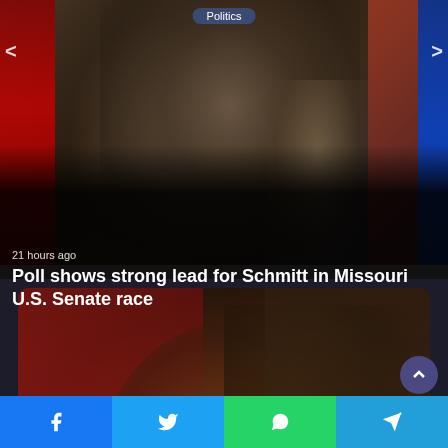[Figure (photo): News article hero image showing blurred political figures with flags, for a Missouri Senate race story]
Politics
21 hours ago
Poll shows strong lead for Schmitt in Missouri U.S. Senate race
[Figure (photo): Photo of Rapper Huey with dreadlocks in a store setting, with a circular back-navigation arrow overlay]
Rapper Huey killed in shooting in Kinloch
[Figure (other): Social share buttons row: Facebook, Twitter, WhatsApp, Telegram]